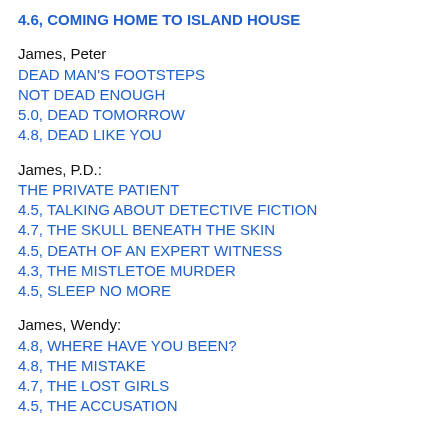4.6, COMING HOME TO ISLAND HOUSE
James, Peter
DEAD MAN'S FOOTSTEPS
NOT DEAD ENOUGH
5.0, DEAD TOMORROW
4.8, DEAD LIKE YOU
James, P.D.:
THE PRIVATE PATIENT
4.5, TALKING ABOUT DETECTIVE FICTION
4.7, THE SKULL BENEATH THE SKIN
4.5, DEATH OF AN EXPERT WITNESS
4.3, THE MISTLETOE MURDER
4.5, SLEEP NO MORE
James, Wendy:
4.8, WHERE HAVE YOU BEEN?
4.8, THE MISTAKE
4.7, THE LOST GIRLS
4.5, THE ACCUSATION